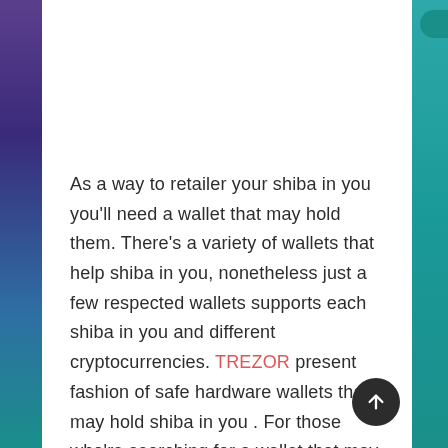As a way to retailer your shiba in you you'll need a wallet that may hold them. There's a variety of wallets that help shiba in you, nonetheless just a few respected wallets supports each shiba in you and different cryptocurrencies. TREZOR present fashion of safe hardware wallets that may hold shiba in you . For those who're searching for a wallet that may hold shiba in you together with different cryptocurrencies, together with Bitcoin, Ethereum, and Ripple you gained't discover a better choice. These pocket-sized hardware wallet are basically un hack able, and their user-